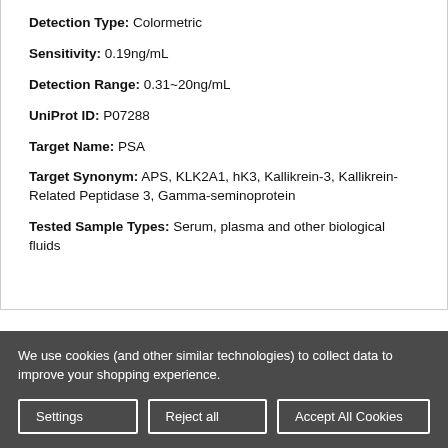Detection Type: Colormetric
Sensitivity: 0.19ng/mL
Detection Range: 0.31~20ng/mL
UniProt ID: P07288
Target Name: PSA
Target Synonym: APS, KLK2A1, hK3, Kallikrein-3, Kallikrein-Related Peptidase 3, Gamma-seminoprotein
Tested Sample Types: Serum, plasma and other biological fluids
We use cookies (and other similar technologies) to collect data to improve your shopping experience.
Settings | Reject all | Accept All Cookies